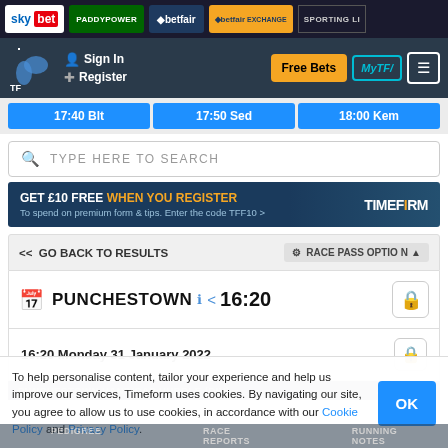sky bet | PADDYPOWER | betfair | betfair EXCHANGE | SPORTING LI
Sign In | Register | Free Bets | MyTF | Menu
17:40 Blt | 17:50 Sed | 18:00 Kem
TYPE HERE TO SEARCH
GET £10 FREE WHEN YOU REGISTER - To spend on premium form & tips. Enter the code TFF10 > TIMEFORM
<< GO BACK TO RESULTS | RACE PASS OPTIONS
PUNCHESTOWN < 16:20
16:20 Monday 31 January 2022
PUNCHESTOWN HANDICAP HURDLE (DIV)
To help personalise content, tailor your experience and help us improve our services, Timeform uses cookies. By navigating our site, you agree to allow us to use cookies, in accordance with our Cookie Policy and Privacy Policy.